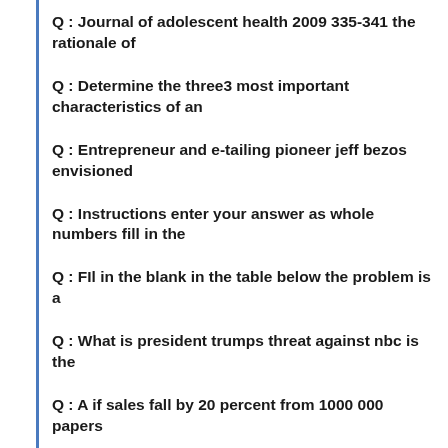Q : Journal of adolescent health 2009 335-341 the rationale of
Q : Determine the three3 most important characteristics of an
Q : Entrepreneur and e-tailing pioneer jeff bezos envisioned
Q : Instructions enter your answer as whole numbers fill in the
Q : FIl in the blank in the table below the problem is a
Q : What is president trumps threat against nbc is the
Q : A if sales fall by 20 percent from 1000 000 papers